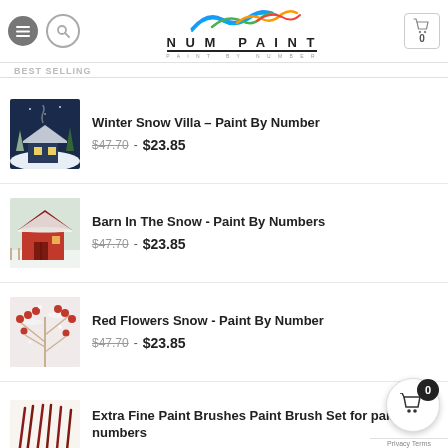NUM PAINT - PAINT BY NUMBER - Best Selling
Winter Snow Villa – Paint By Number
$47.70 - $23.85
Barn In The Snow - Paint By Numbers
$47.70 - $23.85
Red Flowers Snow - Paint By Number
$47.70 - $23.85
Extra Fine Paint Brushes Paint Brush Set for paint by numbers
$29.85  $22.85